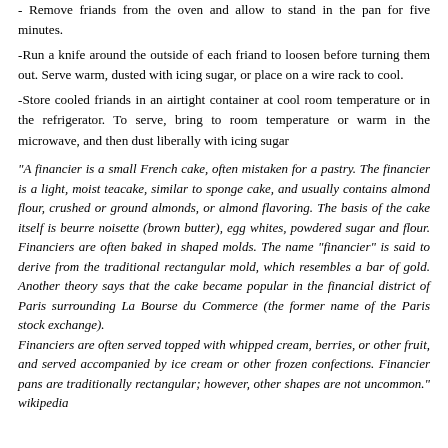- Remove friands from the oven and allow to stand in the pan for five minutes.
-Run a knife around the outside of each friand to loosen before turning them out. Serve warm, dusted with icing sugar, or place on a wire rack to cool.
-Store cooled friands in an airtight container at cool room temperature or in the refrigerator. To serve, bring to room temperature or warm in the microwave, and then dust liberally with icing sugar
"A financier is a small French cake, often mistaken for a pastry. The financier is a light, moist teacake, similar to sponge cake, and usually contains almond flour, crushed or ground almonds, or almond flavoring. The basis of the cake itself is beurre noisette (brown butter), egg whites, powdered sugar and flour. Financiers are often baked in shaped molds. The name "financier" is said to derive from the traditional rectangular mold, which resembles a bar of gold. Another theory says that the cake became popular in the financial district of Paris surrounding La Bourse du Commerce (the former name of the Paris stock exchange). Financiers are often served topped with whipped cream, berries, or other fruit, and served accompanied by ice cream or other frozen confections. Financier pans are traditionally rectangular; however, other shapes are not uncommon." wikipedia